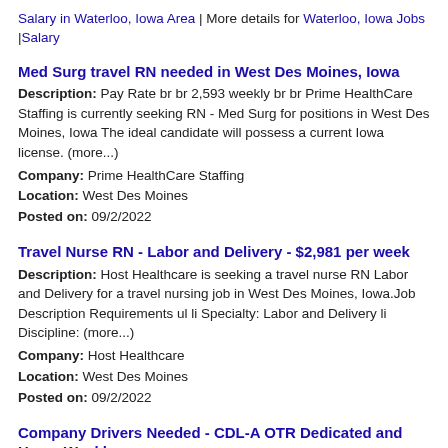Salary in Waterloo, Iowa Area | More details for Waterloo, Iowa Jobs |Salary
Med Surg travel RN needed in West Des Moines, Iowa
Description: Pay Rate br br 2,593 weekly br br Prime HealthCare Staffing is currently seeking RN - Med Surg for positions in West Des Moines, Iowa The ideal candidate will possess a current Iowa license. (more...)
Company: Prime HealthCare Staffing
Location: West Des Moines
Posted on: 09/2/2022
Travel Nurse RN - Labor and Delivery - $2,981 per week
Description: Host Healthcare is seeking a travel nurse RN Labor and Delivery for a travel nursing job in West Des Moines, Iowa.Job Description Requirements ul li Specialty: Labor and Delivery li Discipline: (more...)
Company: Host Healthcare
Location: West Des Moines
Posted on: 09/2/2022
Company Drivers Needed - CDL-A OTR Dedicated and Home Weekly
Description: br br br Company Drivers Needed - CDL-A OTR